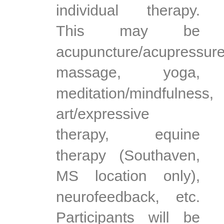individual therapy. This may be acupuncture/acupressure, massage, yoga, meditation/mindfulness, art/expressive therapy, equine therapy (Southaven, MS location only), neurofeedback, etc. Participants will be asked to perform reflective writing assignments in between meetings with their clinician to extend the impact of their therapy as well as provide insight into future areas of therapeutic intervention.
All retreats are completed with a ongoing care collaboration meeting to determine what the participant may want to continue to work on with their primary therapist when they return home, suggestions for further support and information to carry on the work performed during the retreat. This